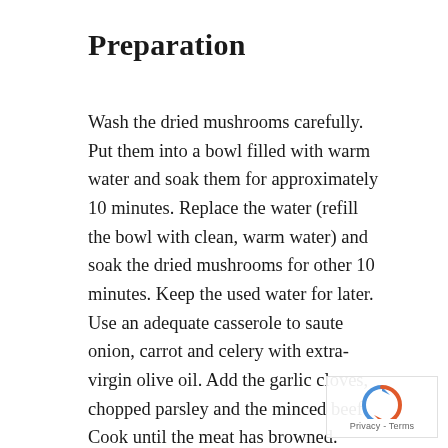Preparation
Wash the dried mushrooms carefully. Put them into a bowl filled with warm water and soak them for approximately 10 minutes. Replace the water (refill the bowl with clean, warm water) and soak the dried mushrooms for other 10 minutes. Keep the used water for later.
Use an adequate casserole to saute onion, carrot and celery with extra-virgin olive oil. Add the garlic cloves, chopped parsley and the minced beef.
Cook until the meat has browned.